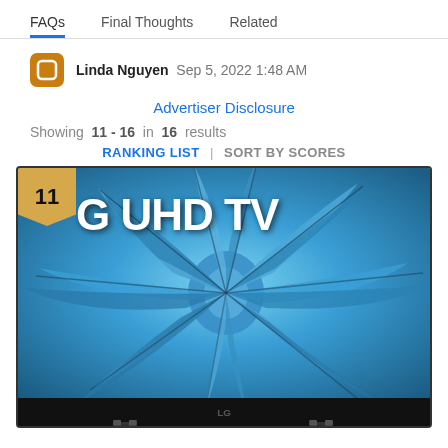FAQs  Final Thoughts  Related
Linda Nguyen  Sep 5, 2022 1:48 AM
Advertiser Disclosure
Showing 11 - 16 in 16 results
RANKING LIST | SORT BY SCORES
[Figure (photo): LG UHD TV product image, ranking #11, showing a TV with a large agave plant displayed on the screen]